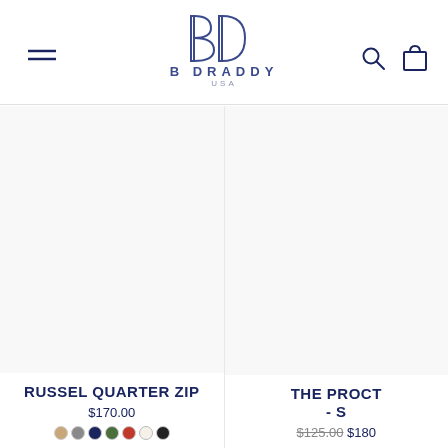[Figure (logo): B Draddy USA logo with stylized BD monogram in dark navy blue, text reads B DRADDY / USA]
B DRADDY USA — navigation header with hamburger menu, logo, search icon, and shopping bag icon
[Figure (photo): Product photo area for Russel Quarter Zip (white background, product image not visible in crop)]
RUSSEL QUARTER ZIP
$170.00
[Figure (photo): Product photo area for The Proct - S (white background, product image not visible in crop)]
THE PROCT - S
$125.00 $180